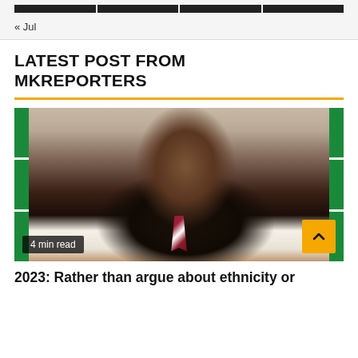« Jul
LATEST POST FROM MKREPORTERS
[Figure (photo): Headshot of a man in a dark suit and striped tie, with Nigerian flag decorative strips on left and right sides of the image. Badge reads '4 min read' in bottom left corner. Orange scroll-to-top button in bottom right.]
2023: Rather than argue about ethnicity or